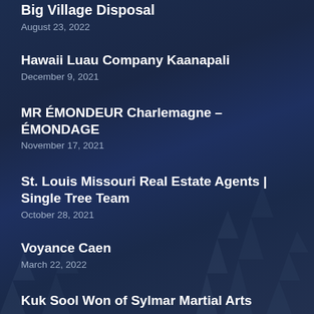Big Village Disposal
August 23, 2022
Hawaii Luau Company Kaanapali
December 9, 2021
MR ÉMONDEUR Charlemagne – ÉMONDAGE
November 17, 2021
St. Louis Missouri Real Estate Agents | Single Tree Team
October 28, 2021
Voyance Caen
March 22, 2022
Kuk Sool Won of Sylmar Martial Arts